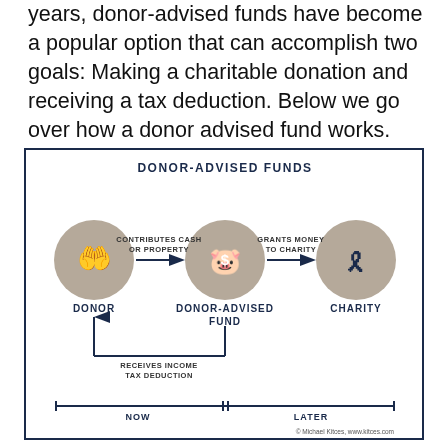years, donor-advised funds have become a popular option that can accomplish two goals: Making a charitable donation and receiving a tax deduction. Below we go over how a donor advised fund works.
[Figure (flowchart): Donor-Advised Funds flowchart showing: Donor (icon of hand with money) contributes cash or property to Donor-Advised Fund (piggy bank icon with dollar sign) which grants money to charity (ribbon icon). Donor receives income tax deduction from the fund. Timeline shows NOW and LATER phases. Attribution: Michael Kitces, www.kitces.com]